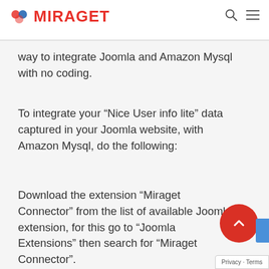MIRAGET
way to integrate Joomla and Amazon Mysql with no coding.
To integrate your “Nice User info lite” data captured in your Joomla website, with Amazon Mysql, do the following:
Download the extension “Miraget Connector” from the list of available Joomla extension, for this go to “Joomla Extensions” then search for “Miraget Connector”.